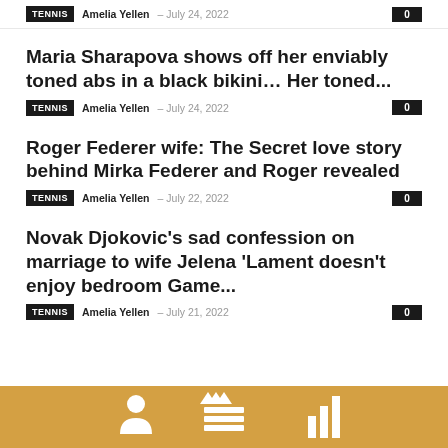TENNIS  Amelia Yellen – July 24, 2022  0
Maria Sharapova shows off her enviably toned abs in a black bikini… Her toned...
TENNIS  Amelia Yellen – July 24, 2022  0
Roger Federer wife: The Secret love story behind Mirka Federer and Roger revealed
TENNIS  Amelia Yellen – July 22, 2022  0
Novak Djokovic's sad confession on marriage to wife Jelena 'Lament doesn't enjoy bedroom Game...
TENNIS  Amelia Yellen – July 21, 2022  0